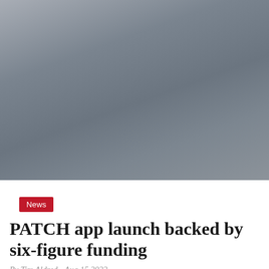[Figure (photo): A grey-toned landscape or sky photograph used as a header image, appearing blurred or abstract with muted blue-grey tones.]
News
PATCH app launch backed by six-figure funding
By Tim Aldred - Aug 15 2022